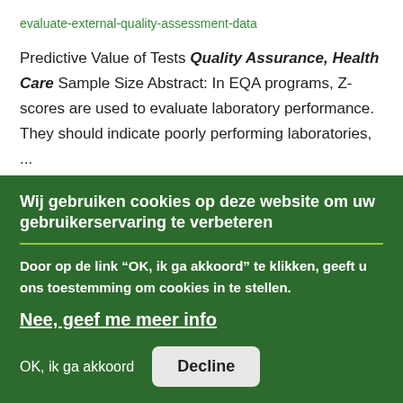evaluate-external-quality-assessment-data
Predictive Value of Tests Quality Assurance, Health Care Sample Size Abstract: In EQA programs, Z-scores are used to evaluate laboratory performance. They should indicate poorly performing laboratories, ...
External quality assessment
Wij gebruiken cookies op deze website om uw gebruikerservaring te verbeteren
Door op de link „OK, ik ga akkoord“ te klikken, geeft u ons toestemming om cookies in te stellen.
Nee, geef me meer info
OK, ik ga akkoord   Decline